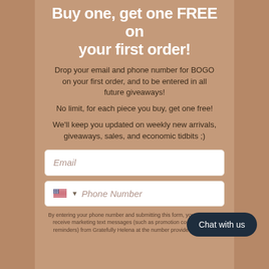Buy one, get one FREE on your first order!
Drop your email and phone number for BOGO on your first order, and to be entered in all future giveaways!
No limit, for each piece you buy, get one free!
We'll keep you updated on weekly new arrivals, giveaways, sales, and economic tidbits ;)
[Figure (other): Email input field with white background and italic placeholder text 'Email']
[Figure (other): Phone number input field with US flag icon, dropdown arrow, and italic placeholder text 'Phone Number']
By entering your phone number and submitting this form, you consent to receive marketing text messages (such as promotion codes and cart reminders) from Gratefully Helena at the number provided, including
Chat with us